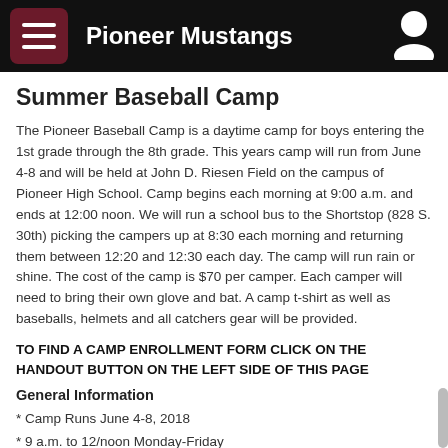Pioneer Mustangs
Summer Baseball Camp
The Pioneer Baseball Camp is a daytime camp for boys entering the 1st grade through the 8th grade. This years camp will run from June 4-8 and will be held at John D. Riesen Field on the campus of Pioneer High School. Camp begins each morning at 9:00 a.m. and ends at 12:00 noon. We will run a school bus to the Shortstop (828 S. 30th) picking the campers up at 8:30 each morning and returning them between 12:20 and 12:30 each day. The camp will run rain or shine. The cost of the camp is $70 per camper. Each camper will need to bring their own glove and bat. A camp t-shirt as well as baseballs, helmets and all catchers gear will be provided.
TO FIND A CAMP ENROLLMENT FORM CLICK ON THE HANDOUT BUTTON ON THE LEFT SIDE OF THIS PAGE
General Information
* Camp Runs June 4-8, 2018
* 9 a.m. to 12/noon Monday-Friday